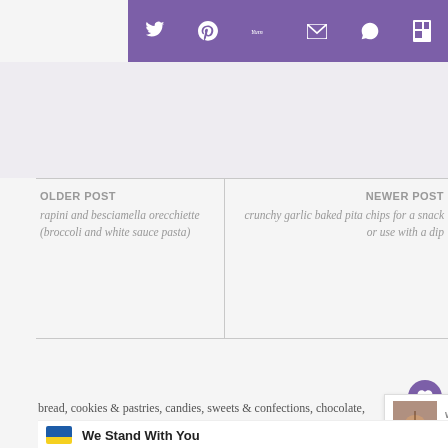[Figure (screenshot): Purple social share toolbar with Twitter, Pinterest, Yummly, email, WhatsApp, and Flipboard icons in white on purple background]
[Figure (screenshot): Light gray content/image area]
OLDER POST
rapini and besciamella orecchiette (broccoli and white sauce pasta)
NEWER POST
crunchy garlic baked pita chips for a snack or use with a dip
[Figure (screenshot): Social share icon row with Facebook, Twitter, Pinterest, email, Yummly, Flipboard icons in purple, and share count showing 696 SHARES, heart button, and share+ button]
bread, cookies & pastries, candies, sweets & confections, chocolate, course, meal, cuisine, desserts, egg free, gluten free, ingredient, nut (british), special diets, vegetarian · bars
[Figure (screenshot): WHAT'S NEXT overlay: 'How to Make a "Proper" Cu...' with thumbnail image]
[Figure (screenshot): Ad banner: Ukrainian flag colors with text 'We Stand With You']